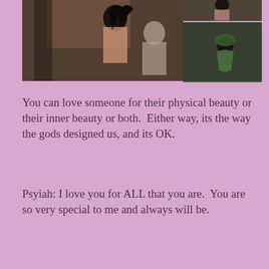[Figure (photo): Three game/CGI rendered screenshots showing animated characters in an indoor scene. Left large image shows two dark-haired characters indoors. Top right shows a character from behind. Bottom right shows a character in a green outfit crouching.]
You can love someone for their physical beauty or their inner beauty or both.  Either way, its the way the gods designed us, and its OK.
Psyiah: I love you for ALL that you are.  You are so very special to me and always will be.